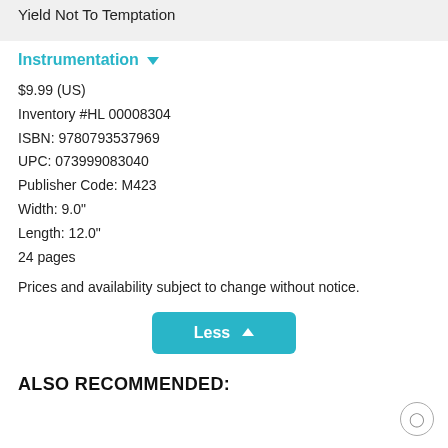Yield Not To Temptation
Instrumentation
$9.99 (US)
Inventory #HL 00008304
ISBN: 9780793537969
UPC: 073999083040
Publisher Code: M423
Width: 9.0"
Length: 12.0"
24 pages
Prices and availability subject to change without notice.
Less
ALSO RECOMMENDED: